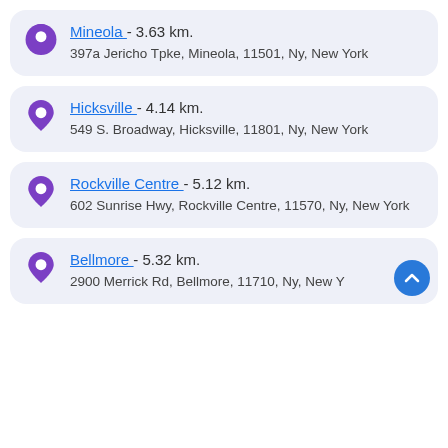Mineola - 3.63 km. | 397a Jericho Tpke, Mineola, 11501, Ny, New York
Hicksville - 4.14 km. | 549 S. Broadway, Hicksville, 11801, Ny, New York
Rockville Centre - 5.12 km. | 602 Sunrise Hwy, Rockville Centre, 11570, Ny, New York
Bellmore - 5.32 km. | 2900 Merrick Rd, Bellmore, 11710, Ny, New York